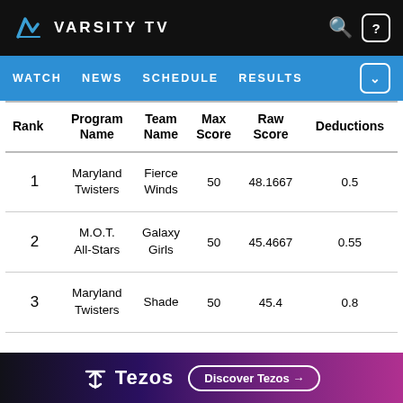VARSITY TV
WATCH  NEWS  SCHEDULE  RESULTS
| Rank | Program Name | Team Name | Max Score | Raw Score | Deductions |
| --- | --- | --- | --- | --- | --- |
| 1 | Maryland Twisters | Fierce Winds | 50 | 48.1667 | 0.5 |
| 2 | M.O.T. All-Stars | Galaxy Girls | 50 | 45.4667 | 0.55 |
| 3 | Maryland Twisters | Shade | 50 | 45.4 | 0.8 |
[Figure (other): Tezos advertisement banner with logo and Discover Tezos button]